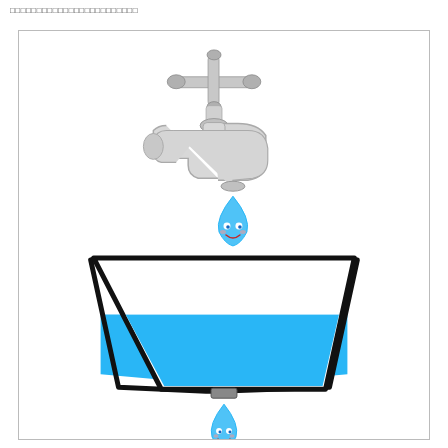□□□□□□□□□□□□□□□□□□□□□□□□
[Figure (illustration): A water tap/faucet dripping a smiling cartoon water droplet into a bucket/basin that is half-filled with blue water, with another smiling cartoon water droplet falling from the bottom of the basin.]